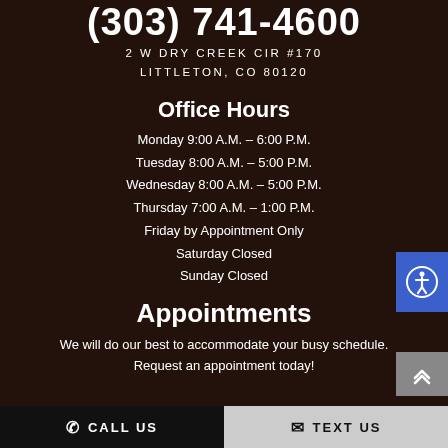(303) 741-4600
2 W DRY CREEK CIR #170
LITTLETON, CO 80120
Office Hours
Monday 9:00 A.M. – 6:00 P.M.
Tuesday 8:00 A.M. – 5:00 P.M.
Wednesday 8:00 A.M. – 5:00 P.M.
Thursday 7:00 A.M. – 1:00 P.M.
Friday by Appointment Only
Saturday Closed
Sunday Closed
Appointments
We will do our best to accommodate your busy schedule. Request an appointment today!
CALL US | TEXT US